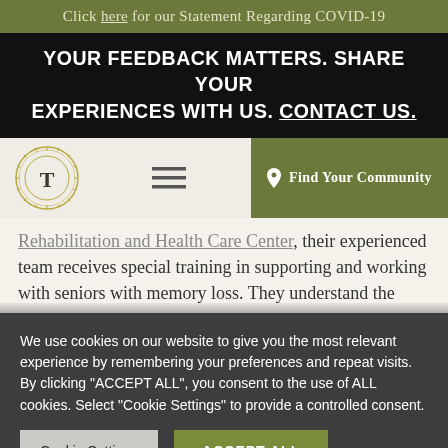Click here for our Statement Regarding COVID-19
YOUR FEEDBACK MATTERS. SHARE YOUR EXPERIENCES WITH US. CONTACT US.
[Figure (logo): Circular gold ornamental logo with letter T in center, hamburger menu icon, and olive green 'Find Your Community' button with pin icon]
Rehabilitation and Health Care Center, their experienced team receives special training in supporting and working with seniors with memory loss. They understand the importance of staying in
We use cookies on our website to give you the most relevant experience by remembering your preferences and repeat visits. By clicking "ACCEPT ALL", you consent to the use of ALL cookies. Select "Cookie Settings" to provide a controlled consent.
Cookie Settings
ACCEPT ALL